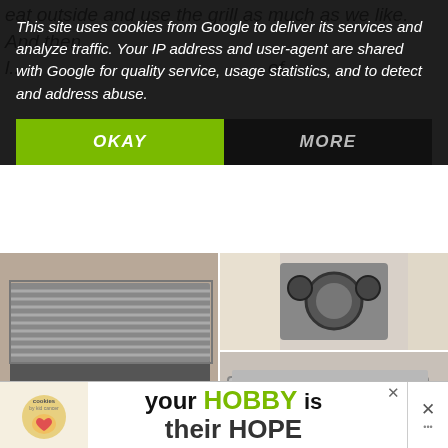eat outside and use the grill as much as we like. And then ... of
This site uses cookies from Google to deliver its services and analyze traffic. Your IP address and user-agent are shared with Google for quality service, usage statistics, and to detect and address abuse.
OKAY
MORE
[Figure (photo): Grill grates and interior of an outdoor/indoor grill, open showing the cooking surface and drip tray]
[Figure (photo): Close-up of espresso machine or grill controls with dials]
[Figure (photo): Electric indoor contact grill/panini press, stainless steel, closed]
I have tried many different grill pans, small indoor grills, and so forth and nothing fit just right. It is never fun when the smoke alarm goes off in your house because it gets too smoky. None curbed our craving for those foods we love on the outdoor grill so I assumed it was never going to be. So
3
[Figure (photo): WHAT'S NEXT thumbnail: Brownie Chocolate...]
[Figure (photo): Bottom advertisement banner: cookies by kid cancer logo, your HOBBY is their HOPE]
your HOBBY is their HOPE